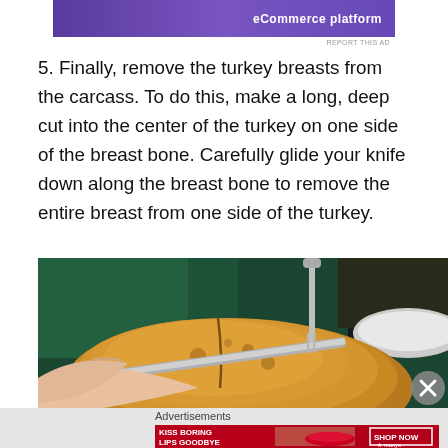[Figure (other): Top purple/violet advertisement banner with text 'eCommerce platform']
REPORT THIS AD
5. Finally, remove the turkey breasts from the carcass. To do this, make a long, deep cut into the center of the turkey on one side of the breast bone. Carefully glide your knife down along the breast bone to remove the entire breast from one side of the turkey.
[Figure (photo): Photograph showing hands carving a roasted turkey with a carving fork and knife, with a green cloth napkin in the background]
[Figure (other): Close button (X circle) at bottom right of photo]
Advertisements
[Figure (other): Bottom advertisement banner: red background with 'KISS BORING LIPS GOODBYE' and 'SHOP NOW macys' text, featuring a woman's face with red lips]